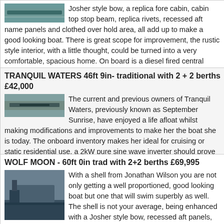Josher style bow, a replica fore cabin, cabin top stop beam, replica rivets, recessed aft name panels and clothed over hold area, all add up to make a good looking boat. There is great scope for improvement, the rustic style interior, with a little thought, could be turned into a very comfortable, spacious home. On board is a diesel fired central heating boiler ready for all connections to be... read more
TRANQUIL WATERS 46ft 9in- traditional with 2 + 2 berths £42,000
The current and previous owners of Tranquil Waters, previously known as September Sunrise, have enjoyed a life afloat whilst making modifications and improvements to make her the boat she is today. The onboard inventory makes her ideal for cruising or static residential use, a 2kW pure sine wave inverter should prove enough to power the fitted washing machine when the engine is running. A large solar array, no less than 350W along with an MPPT controller, should keep the batteries in tip ... read more
WOLF MOON - 60ft 0in trad with 2+2 berths £69,995
With a shell from Jonathan Wilson you are not only getting a well proportioned, good looking boat but one that will swim superbly as well. The shell is not your average, being enhanced with a Josher style bow, recessed aft panels, scrolled cants with scribed aft dock...